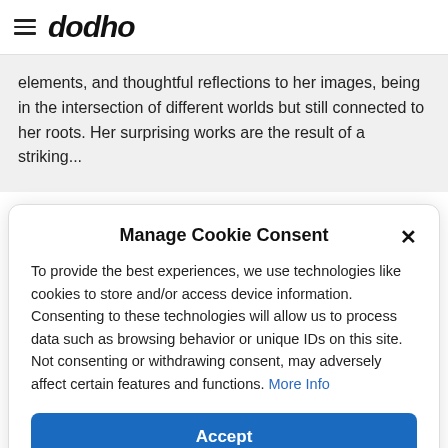dodho
elements, and thoughtful reflections to her images, being in the intersection of different worlds but still connected to her roots. Her surprising works are the result of a striking...
Manage Cookie Consent
To provide the best experiences, we use technologies like cookies to store and/or access device information. Consenting to these technologies will allow us to process data such as browsing behavior or unique IDs on this site. Not consenting or withdrawing consent, may adversely affect certain features and functions. More Info
Accept